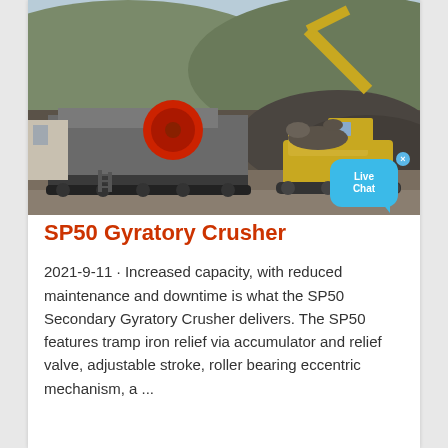[Figure (photo): Photograph of a mobile jaw crusher or gyratory crusher unit at a mining/quarrying site, with an excavator loading rock material into the crusher. Rocky hillside visible in background, outdoor setting.]
SP50 Gyratory Crusher
2021-9-11 · Increased capacity, with reduced maintenance and downtime is what the SP50 Secondary Gyratory Crusher delivers. The SP50 features tramp iron relief via accumulator and relief valve, adjustable stroke, roller bearing eccentric mechanism, a ...